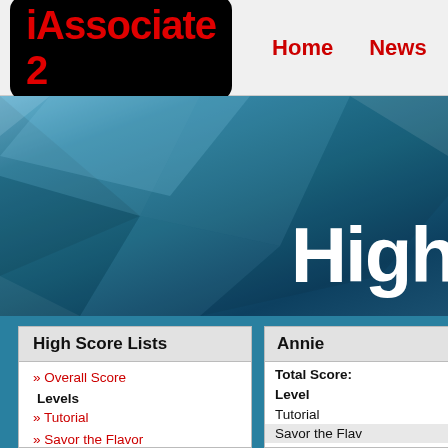[Figure (logo): iAssociate 2 logo with red text on black rounded rectangle background]
Home  News  Sc
[Figure (illustration): Blue geometric hero banner with diagonal faceted shapes and large white 'High' text partially visible on right]
High Score Lists
» Overall Score
Levels
» Tutorial
» Savor the Flavor
» Crazy
» Forces of Nature
» Ants in the Pants
» X Marks the Spot
Annie
Total Score:
Level
Tutorial
Savor the Flav
Crazy